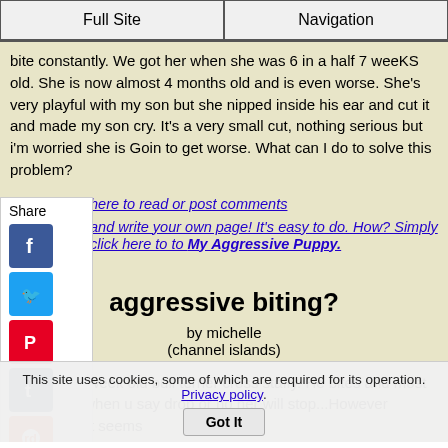Full Site | Navigation
bite constantly. We got her when she was 6 in a half 7 weeKS old. She is now almost 4 months old and is even worse. She's very playful with my son but she nipped inside his ear and cut it and made my son cry. It's a very small cut, nothing serious but i'm worried she is Goin to get worse. What can I do to solve this problem?
here to read or post comments
and write your own page! It's easy to do. How? Simply click here to to My Aggressive Puppy.
aggressive biting?
by michelle
(channel islands)
I have a 10 week old bull terrier cross staffy. He bites and most of the time when u say drop or no her will stop...However sometimes it seems
This site uses cookies, some of which are required for its operation. Privacy policy. Got It